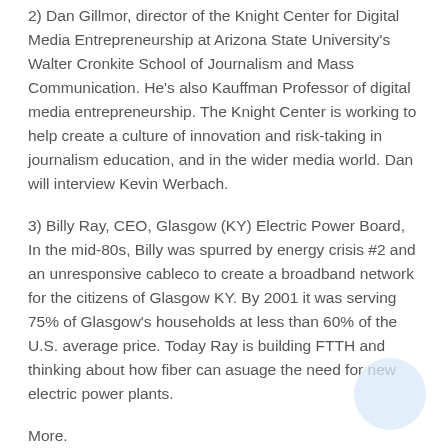2) Dan Gillmor, director of the Knight Center for Digital Media Entrepreneurship at Arizona State University's Walter Cronkite School of Journalism and Mass Communication. He's also Kauffman Professor of digital media entrepreneurship. The Knight Center is working to help create a culture of innovation and risk-taking in journalism education, and in the wider media world. Dan will interview Kevin Werbach.
3) Billy Ray, CEO, Glasgow (KY) Electric Power Board, In the mid-80s, Billy was spurred by energy crisis #2 and an unresponsive cableco to create a broadband network for the citizens of Glasgow KY. By 2001 it was serving 75% of Glasgow's households at less than 60% of the U.S. average price. Today Ray is building FTTH and thinking about how fiber can asuage the need for new electric power plants.
More.